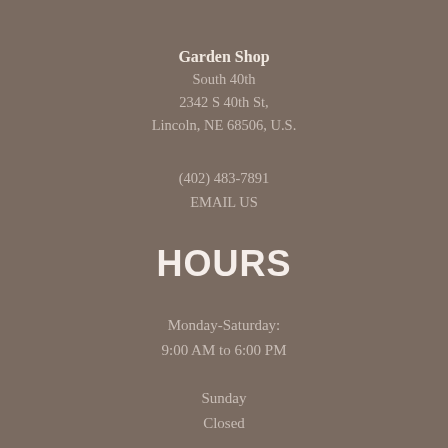Garden Shop
South 40th
2342 S 40th St,
Lincoln, NE 68506, U.S.
(402) 483-7891
EMAIL US
HOURS
Monday-Saturday:
9:00 AM to 6:00 PM
Sunday
Closed
MENU